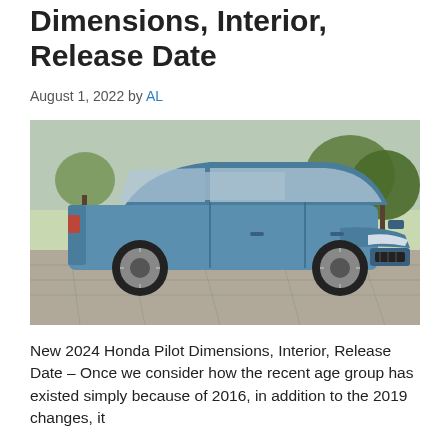Dimensions, Interior, Release Date
August 1, 2022 by AL
[Figure (photo): Blue Honda Pilot SUV parked on a stone paved surface with trees in the background]
New 2024 Honda Pilot Dimensions, Interior, Release Date – Once we consider how the recent age group has existed simply because of 2016, in addition to the 2019 changes, it